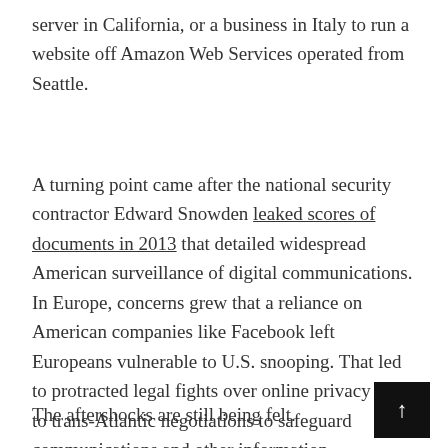server in California, or a business in Italy to run a website off Amazon Web Services operated from Seattle.
A turning point came after the national security contractor Edward Snowden leaked scores of documents in 2013 that detailed widespread American surveillance of digital communications. In Europe, concerns grew that a reliance on American companies like Facebook left Europeans vulnerable to U.S. snooping. That led to protracted legal fights over online privacy and to trans-Atlantic negotiations to safeguard communications and other information transported to American firms.
The aftershocks are still being felt.